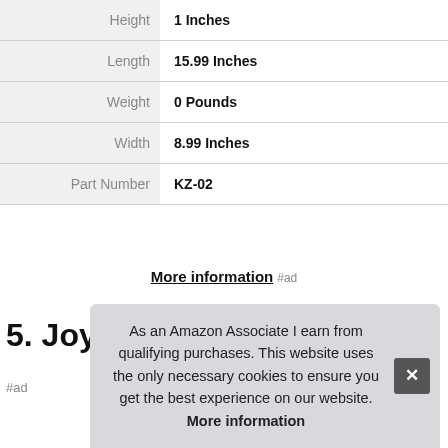|  |  |
| --- | --- |
| Height | 1 Inches |
| Length | 15.99 Inches |
| Weight | 0 Pounds |
| Width | 8.99 Inches |
| Part Number | KZ-02 |
More information #ad
5. Joyleon
As an Amazon Associate I earn from qualifying purchases. This website uses the only necessary cookies to ensure you get the best experience on our website. More information